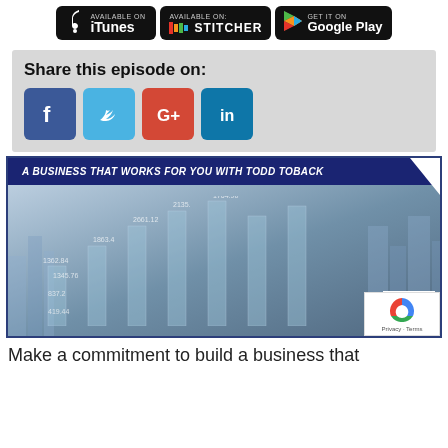[Figure (logo): Three podcast platform badges: iTunes (Apple), Stitcher, and Google Play]
Share this episode on:
[Figure (infographic): Social media share icons: Facebook, Twitter, Google+, LinkedIn]
[Figure (photo): A Business That Works For You With Todd Toback - banner image showing businessman with financial chart overlay and city skyline]
Make a commitment to build a business that